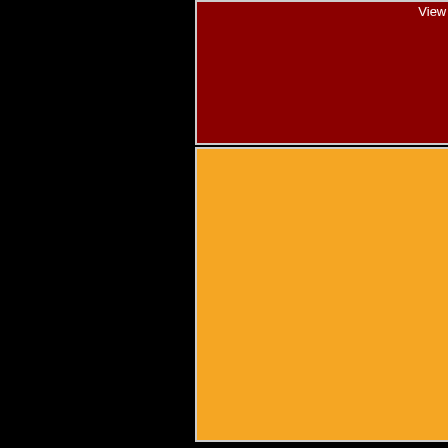[Figure (map): Map screenshot with dark red/maroon background showing a geographic map area]
View Larger Map in a larger map
[Figure (other): Orange/amber colored rectangle below map]
hidden lan...

In the same Tibet and e... Longyang h... 1714) abou... proceed to help of the site, where months.
Shortly aft... Longyang s... his father a... composed instructing Sikkim for had sent on... As per wri... and his son... Lama Jigm... Namgyal (1... objects of